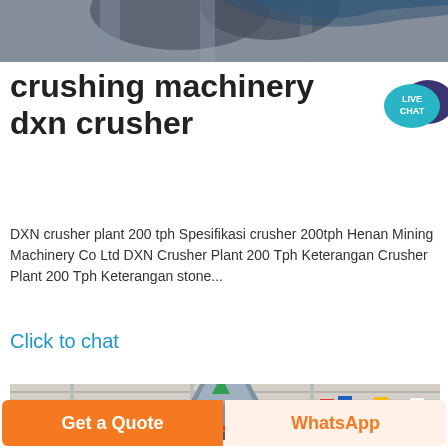[Figure (photo): Partial top view of industrial crushing machinery, metallic, cropped at top of page]
crushing machinery dxn crusher
[Figure (other): Live Chat icon — teal speech bubble with dark purple chat bubble reading LIVE CHAT]
DXN crusher plant 200 tph Spesifikasi crusher 200tph Henan Mining Machinery Co Ltd DXN Crusher Plant 200 Tph Keterangan Crusher Plant 200 Tph Keterangan stone...
Click to chat
[Figure (photo): Industrial crusher machine (cone crusher) inside a large factory/exhibition hall, with colorful flags visible in the background]
Get a Quote
WhatsApp